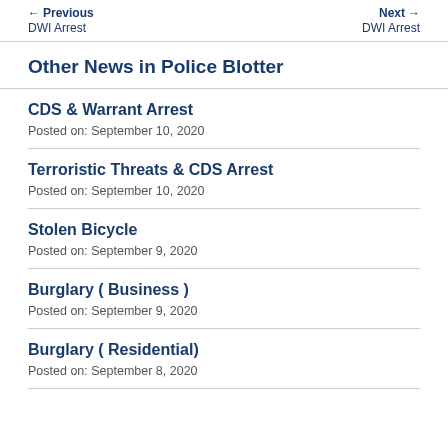← Previous DWI Arrest    Next → DWI Arrest
Other News in Police Blotter
CDS & Warrant Arrest
Posted on: September 10, 2020
Terroristic Threats & CDS Arrest
Posted on: September 10, 2020
Stolen Bicycle
Posted on: September 9, 2020
Burglary ( Business )
Posted on: September 9, 2020
Burglary ( Residential)
Posted on: September 8, 2020